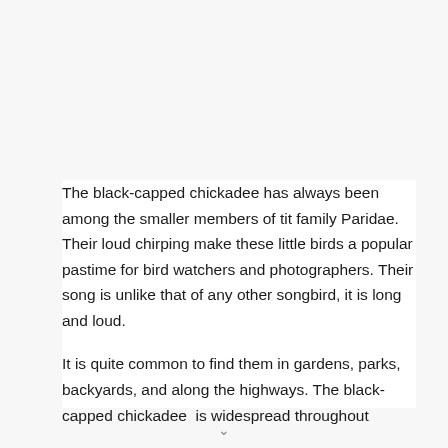The black-capped chickadee has always been among the smaller members of tit family Paridae. Their loud chirping make these little birds a popular pastime for bird watchers and photographers. Their song is unlike that of any other songbird, it is long and loud.
It is quite common to find them in gardens, parks, backyards, and along the highways. The black-capped chickadee  is widespread throughout